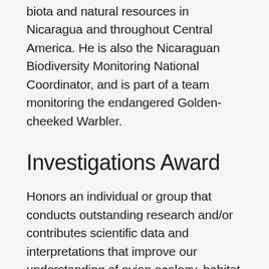biota and natural resources in Nicaragua and throughout Central America. He is also the Nicaraguan Biodiversity Monitoring National Coordinator, and is part of a team monitoring the endangered Golden-cheeked Warbler.
Investigations Award
Honors an individual or group that conducts outstanding research and/or contributes scientific data and interpretations that improve our understanding of avian ecology, habitat management, or other scientific factors important to the PIF initiative.